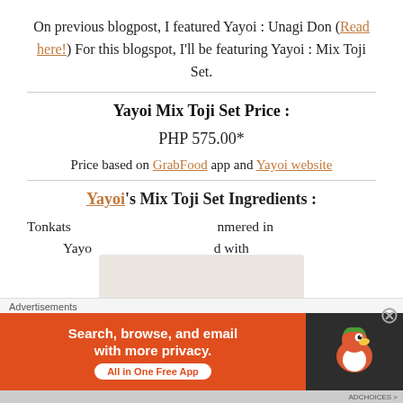On previous blogpost, I featured Yayoi : Unagi Don (Read here!) For this blogspot, I'll be featuring Yayoi : Mix Toji Set.
Yayoi Mix Toji Set Price :
PHP 575.00*
Price based on GrabFood app and Yayoi website
Yayoi's Mix Toji Set Ingredients :
Tonkats... mmered in
Yayo... d with
Advertisements
[Figure (other): DuckDuckGo advertisement banner: orange left section with text 'Search, browse, and email with more privacy.' and 'All in One Free App' button; dark right section with DuckDuckGo logo duck icon]